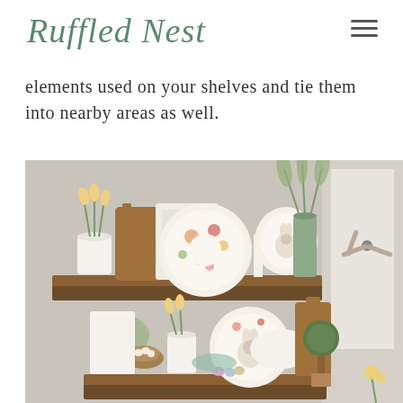Ruffled Nest
elements used on your shelves and tie them into nearby areas as well.
[Figure (photo): Two wooden floating shelves decorated with spring/Easter decor including floral plates, a bunny plate, tulips in a white pitcher, cutting boards, a green vase with greenery, a bird nest, topiary, and pastel Easter eggs.]